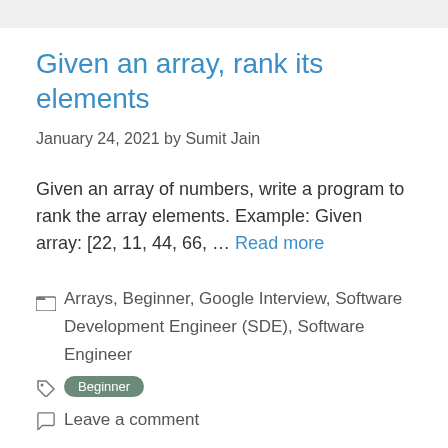Given an array, rank its elements
January 24, 2021 by Sumit Jain
Given an array of numbers, write a program to rank the array elements. Example: Given array: [22, 11, 44, 66, … Read more
Arrays, Beginner, Google Interview, Software Development Engineer (SDE), Software Engineer
Beginner
Leave a comment